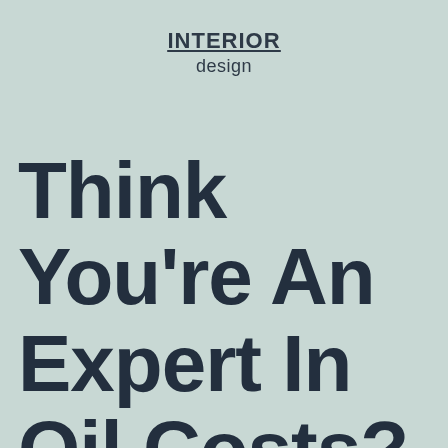INTERIOR
design
Think You're An Expert In Oil Costs? Take This